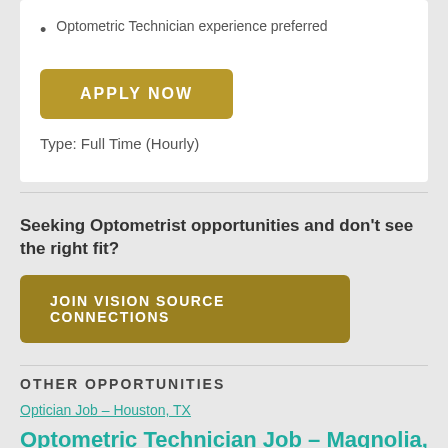Optometric Technician experience preferred
[Figure (other): APPLY NOW button (gold/dark yellow rounded rectangle)]
Type: Full Time (Hourly)
Seeking Optometrist opportunities and don't see the right fit?
[Figure (other): JOIN VISION SOURCE CONNECTIONS button (olive/dark yellow rounded rectangle)]
OTHER OPPORTUNITIES
Optician Job – Houston, TX
Optometric Technician Job – Magnolia, TX
Optician / Optical Sales Job – Fort H…